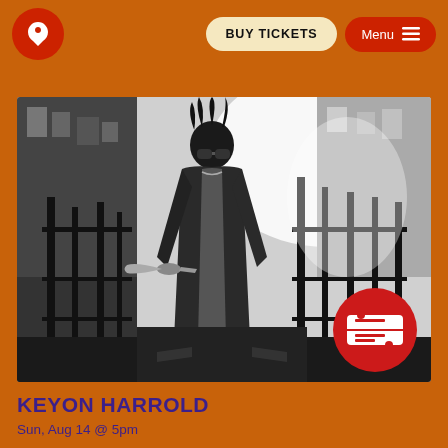BUY TICKETS | Menu
[Figure (photo): Black and white photo of Keyon Harrold, a musician holding a trumpet, standing in front of ornate iron gates on a city street with buildings in the background. A red circular badge with a ticket icon is overlaid on the bottom-right corner of the photo.]
KEYON HARROLD
Sun, Aug 14 @ 5pm